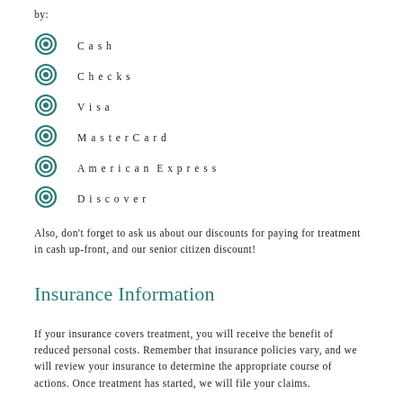by:
Cash
Checks
Visa
MasterCard
American Express
Discover
Also, don't forget to ask us about our discounts for paying for treatment in cash up-front, and our senior citizen discount!
Insurance Information
If your insurance covers treatment, you will receive the benefit of reduced personal costs. Remember that insurance policies vary, and we will review your insurance to determine the appropriate course of actions. Once treatment has started, we will file your claims.
To help us with your insurance filing, please complete the insurance questions on our questionnaire. Please remember that insurance is a benefit for you or your dependents. If